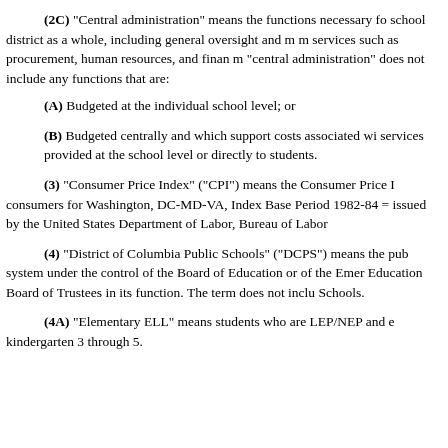(2C) "Central administration" means the functions necessary for the school district as a whole, including general oversight and management services such as procurement, human resources, and financial management. "central administration" does not include any functions that are:
(A) Budgeted at the individual school level; or
(B) Budgeted centrally and which support costs associated with services provided at the school level or directly to students.
(3) "Consumer Price Index" ("CPI") means the Consumer Price Index for consumers for Washington, DC-MD-VA, Index Base Period 1982-84 = 100, issued by the United States Department of Labor, Bureau of Labor Statistics.
(4) "District of Columbia Public Schools" ("DCPS") means the public school system under the control of the Board of Education or of the Emergency Education Board of Trustees in its function. The term does not include Charter Schools.
(4A) "Elementary ELL" means students who are LEP/NEP and enrolled in kindergarten 3 through 5.